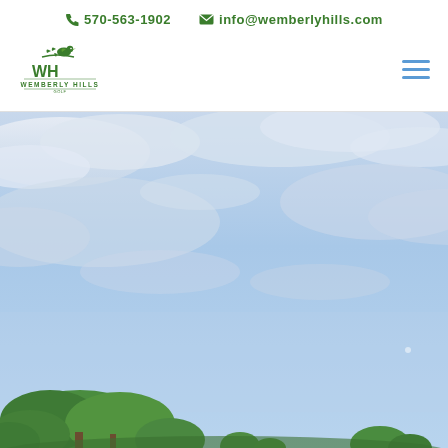570-563-1902  info@wemberlyhills.com
[Figure (logo): Wemberly Hills logo with bird on branch and decorative text]
[Figure (photo): Outdoor scenic photo showing blue sky with clouds and green treetops at the bottom]